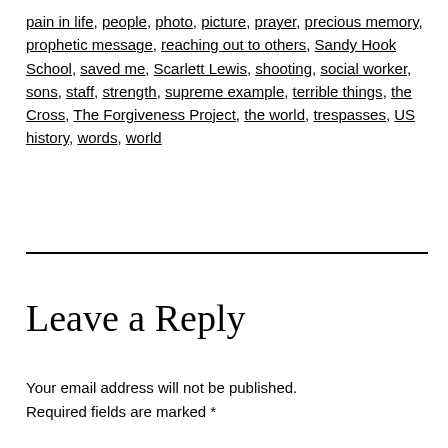pain in life, people, photo, picture, prayer, precious memory, prophetic message, reaching out to others, Sandy Hook School, saved me, Scarlett Lewis, shooting, social worker, sons, staff, strength, supreme example, terrible things, the Cross, The Forgiveness Project, the world, trespasses, US history, words, world
Leave a Reply
Your email address will not be published. Required fields are marked *